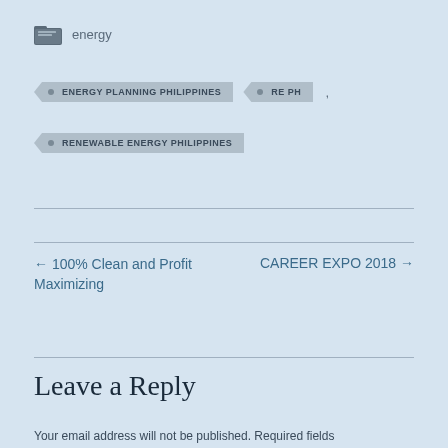[Figure (illustration): Folder icon with label 'energy']
ENERGY PLANNING PHILIPPINES
RE PH
RENEWABLE ENERGY PHILIPPINES
← 100% Clean and Profit Maximizing
CAREER EXPO 2018 →
Leave a Reply
Your email address will not be published. Required fields